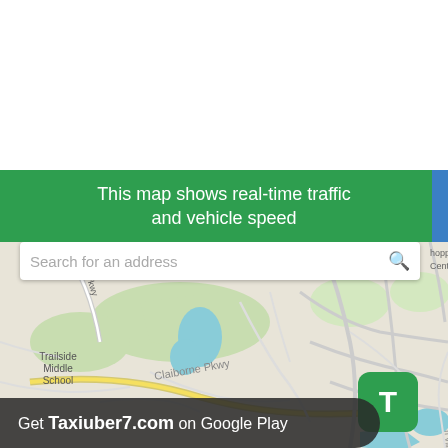[Figure (map): A map screenshot showing Trailside Middle School, Claiborne Pkwy, Ashburn Elementary, and surrounding road network in Ashburn, VA area. Includes a search bar overlay with 'Search for an address' placeholder text and a green 'T' button in the lower right.]
This map shows real-time traffic and vehicle speed
Search for an address
Get Taxiuber7.com on Google Play